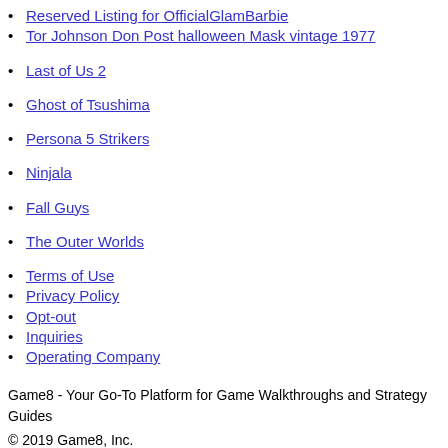Reserved Listing for OfficialGlamBarbie
Tor Johnson Don Post halloween Mask vintage 1977
Last of Us 2
Ghost of Tsushima
Persona 5 Strikers
Ninjala
Fall Guys
The Outer Worlds
Terms of Use
Privacy Policy
Opt-out
Inquiries
Operating Company
Game8 - Your Go-To Platform for Game Walkthroughs and Strategy Guides
© 2019 Game8, Inc.